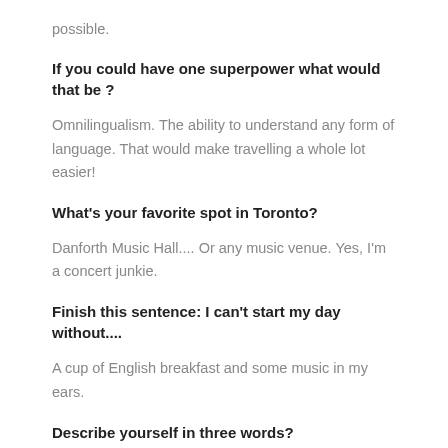possible.
If you could have one superpower what would that be ?
Omnilingualism. The ability to understand any form of language. That would make travelling a whole lot easier!
What's your favorite spot in Toronto?
Danforth Music Hall.... Or any music venue. Yes, I'm a concert junkie.
Finish this sentence: I can't start my day without....
A cup of English breakfast and some music in my ears.
Describe yourself in three words?